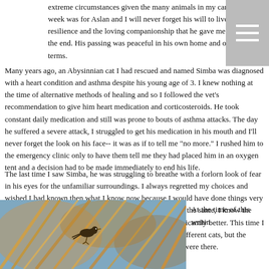extreme circumstances given the many animals in my care. This last week was for Aslan and I will never forget his will to live, his resilience and the loving companionship that he gave me right until the end. His passing was peaceful in his own home and on his own terms.
Many years ago, an Abysinnian cat I had rescued and named Simba was diagnosed with a heart condition and asthma despite his young age of 3. I knew nothing at the time of alternative methods of healing and so I followed the vet's recommendation to give him heart medication and corticosteroids. He took constant daily medication and still was prone to bouts of asthma attacks. The day he suffered a severe attack, I struggled to get his medication in his mouth and I'll never forget the look on his face-- it was as if to tell me "no more." I rushed him to the emergency clinic only to have them tell me they had placed him in an oxygen tent and a decision had to be made immediately to end his life.
The last time I saw Simba, he was struggling to breathe with a forlorn look of fear in his eyes for the unfamiliar surroundings. I always regretted my choices and wished I had known then what I know now because I would have done things very differently. And while the final outcome would have been the same, I know the quality of Simba's life (and death) would have been significantly better. This time I had the opportunity to make the right choice for Aslan. Different cats, but the similarities between their personalities and the situations were there.
[Figure (photo): Close-up photograph of a bird among reeds or dried golden-brown grass stems, with blurred blue background]
At the time of this writin